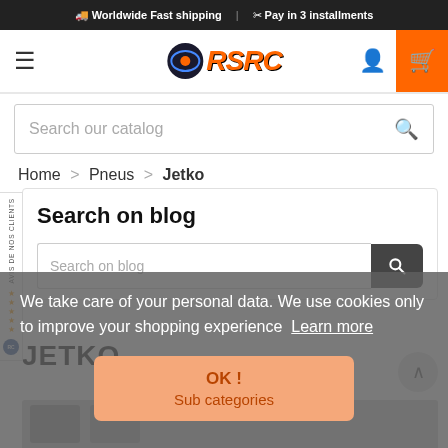🚚 Worldwide Fast shipping | ✂ Pay in 3 installments
[Figure (logo): RSRC logo with racing graphic, orange text on white header bar]
Search our catalog
Home > Pneus > Jetko
Search on blog
We take care of your personal data. We use cookies only to improve your shopping experience Learn more
OK ! Sub categories
JETKO